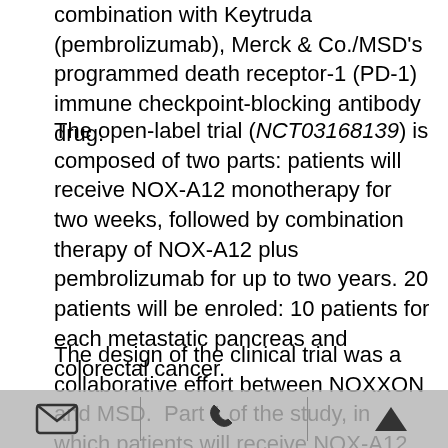combination with Keytruda (pembrolizumab), Merck & Co./MSD's programmed death receptor-1 (PD-1) immune checkpoint-blocking antibody drug.
The open-label trial (NCT03168139) is composed of two parts: patients will receive NOX-A12 monotherapy for two weeks, followed by combination therapy of NOX-A12 plus pembrolizumab for up to two years. 20 patients will be enroled: 10 patients for each metastatic pancreas and colorectal cancer.
The design of the clinical trial was a collaborative effort between NOXXON and MSD. Part 1 of the study, in which patients will receive NOX-A12 monotherapy for up to two weeks, will evaluate immune infiltrate changes within the tumor microenvironment induced by CXCL12 inhibition with NOX-A12 by comparing pre- and post-treatment biopsy specimens as well as the safety and tolerability of NOX-A12 in patients with metastatic (stage IV) colorectal and pancreatic